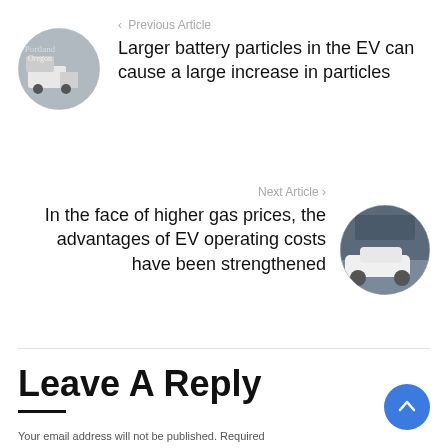[Figure (photo): Circular thumbnail image of a truck in an urban/Portland Oregon scene]
‹  Previous Article
Larger battery particles in the EV can cause a large increase in particles
Next Article  ›
[Figure (photo): Circular thumbnail image of a white EV car (Nissan Leaf) charging in a garage]
In the face of higher gas prices, the advantages of EV operating costs have been strengthened
Leave A Reply
Your email address will not be published. Required